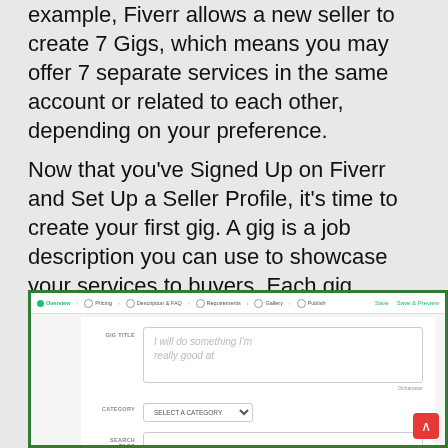example, Fiverr allows a new seller to create 7 Gigs, which means you may offer 7 separate services in the same account or related to each other, depending on your preference.
Now that you've Signed Up on Fiverr and Set Up a Seller Profile, it's time to create your first gig. A gig is a job description you can use to showcase your services to buyers. Each gig requires you to fill out basic information about your services.
[Figure (screenshot): Screenshot of Fiverr gig creation form showing navigation bar with steps (Overview, Pricing, Description & FAQ, Requirements, Gallery, Publish), and form fields: GIG TITLE with placeholder 'I will do something I'm really good at', CATEGORY dropdown with 'SELECT A CATEGORY', and SEARCH TAGS input field.]